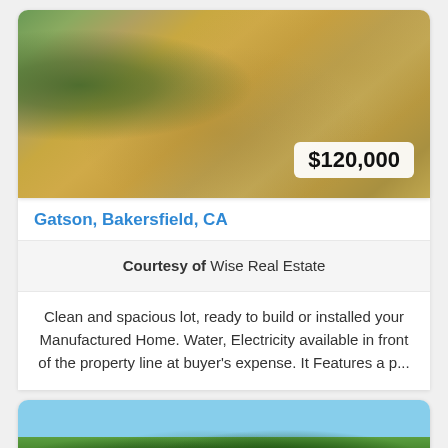[Figure (photo): Aerial view of a vacant sandy lot in Bakersfield, CA with sparse vegetation and fence posts visible, neighboring properties on the left side]
$120,000
Gatson, Bakersfield, CA
Courtesy of Wise Real Estate
Clean and spacious lot, ready to build or installed your Manufactured Home. Water, Electricity available in front of the property line at buyer's expense. It Features a p...
[Figure (photo): Exterior photo of a residential property with large trees and blue sky in the background]